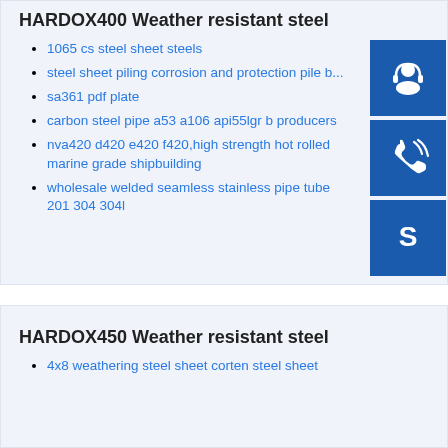HARDOX400 Weather resistant steel
1065 cs steel sheet steels
steel sheet piling corrosion and protection pile b…
sa361 pdf plate
carbon steel pipe a53 a106 api55lgr b producers
nva420 d420 e420 f420,high strength hot rolled marine grade shipbuilding
wholesale welded seamless stainless pipe tube 201 304 304l
[Figure (infographic): Three blue icon buttons on the right side: headset/customer service icon, phone/call icon, Skype icon]
HARDOX450 Weather resistant steel
4x8 weathering steel sheet corten steel sheet